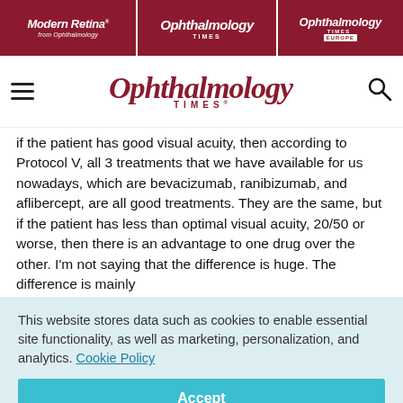Modern Retina | Ophthalmology Times | Ophthalmology Times Europe
Ophthalmology Times
if the patient has good visual acuity, then according to Protocol V, all 3 treatments that we have available for us nowadays, which are bevacizumab, ranibizumab, and aflibercept, are all good treatments. They are the same, but if the patient has less than optimal visual acuity, 20/50 or worse, then there is an advantage to one drug over the other. I'm not saying that the difference is huge. The difference is mainly
This website stores data such as cookies to enable essential site functionality, as well as marketing, personalization, and analytics. Cookie Policy
Accept
Deny